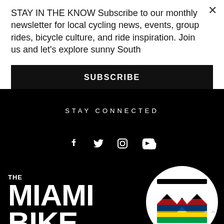STAY IN THE KNOW Subscribe to our monthly newsletter for local cycling news, events, group rides, bicycle culture, and ride inspiration. Join us and let's explore sunny South
SUBSCRIBE
STAY CONNECTED
[Figure (infographic): Social media icons: Facebook, Twitter, Instagram, YouTube in white on black background]
[Figure (logo): The Miami Bike Scene logo — bold white text on black with circular M logo featuring rainbow stripes (red, blue, yellow, green)]